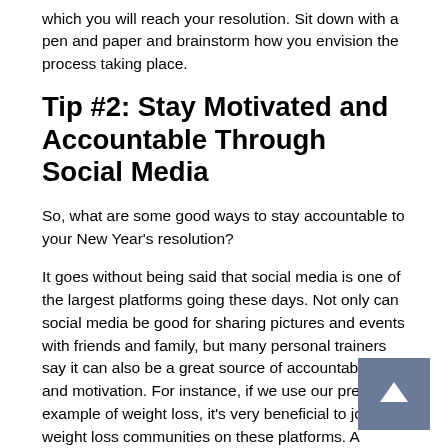which you will reach your resolution. Sit down with a pen and paper and brainstorm how you envision the process taking place.
Tip #2: Stay Motivated and Accountable Through Social Media
So, what are some good ways to stay accountable to your New Year's resolution?
It goes without being said that social media is one of the largest platforms going these days. Not only can social media be good for sharing pictures and events with friends and family, but many personal trainers say it can also be a great source of accountability and motivation. For instance, if we use our previous example of weight loss, it's very beneficial to join weight loss communities on these platforms. A platform such as Instagram, Facebook, etc. has many groups dedicated to weight loss and health. Joining these groups can be an excellent of not only motivation but accountability.